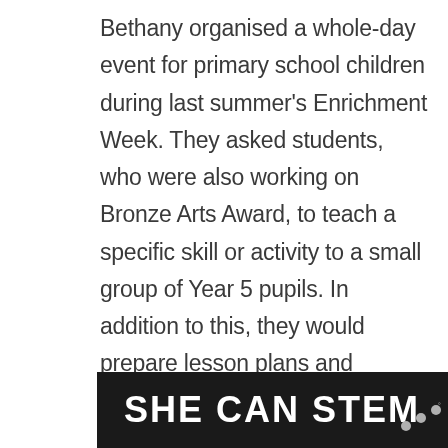Bethany organised a whole-day event for primary school children during last summer's Enrichment Week. They asked students, who were also working on Bronze Arts Award, to teach a specific skill or activity to a small group of Year 5 pupils. In addition to this, they would prepare lesson plans and sample activities as evidence. Remember, these do not have to be written; with a modicum of technology, and some imagination, presentation of evidence can take many forms. They eventually came up with the
[Figure (logo): Dark banner with bold white text reading 'SHE CAN STEM' and a small logo with dots in the bottom right corner]